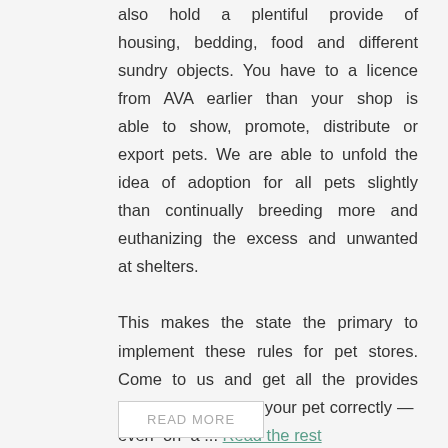also hold a plentiful provide of housing, bedding, food and different sundry objects. You have to a licence from AVA earlier than your shop is able to show, promote, distribute or export pets. We are able to unfold the idea of adoption for all pets slightly than continually breeding more and euthanizing the excess and unwanted at shelters.

This makes the state the primary to implement these rules for pet stores. Come to us and get all the provides you have to care to your pet correctly — even on a … Read the rest
READ MORE